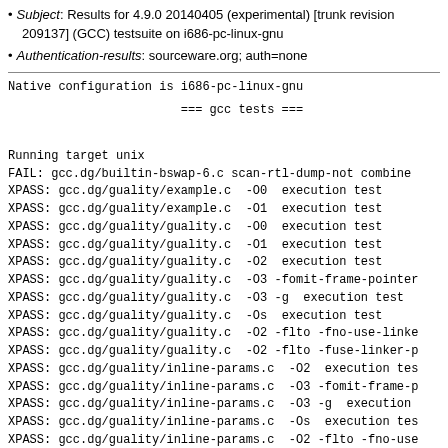Subject: Results for 4.9.0 20140405 (experimental) [trunk revision 209137] (GCC) testsuite on i686-pc-linux-gnu
Authentication-results: sourceware.org; auth=none
Native configuration is i686-pc-linux-gnu
=== gcc tests ===
Running target unix
FAIL: gcc.dg/builtin-bswap-6.c scan-rtl-dump-not combine
XPASS: gcc.dg/guality/example.c  -O0  execution test
XPASS: gcc.dg/guality/example.c  -O1  execution test
XPASS: gcc.dg/guality/guality.c  -O0  execution test
XPASS: gcc.dg/guality/guality.c  -O1  execution test
XPASS: gcc.dg/guality/guality.c  -O2  execution test
XPASS: gcc.dg/guality/guality.c  -O3 -fomit-frame-pointer
XPASS: gcc.dg/guality/guality.c  -O3 -g  execution test
XPASS: gcc.dg/guality/guality.c  -Os  execution test
XPASS: gcc.dg/guality/guality.c  -O2 -flto -fno-use-linke
XPASS: gcc.dg/guality/guality.c  -O2 -flto -fuse-linker-p
XPASS: gcc.dg/guality/inline-params.c  -O2  execution tes
XPASS: gcc.dg/guality/inline-params.c  -O3 -fomit-frame-p
XPASS: gcc.dg/guality/inline-params.c  -O3 -g  execution
XPASS: gcc.dg/guality/inline-params.c  -Os  execution tes
XPASS: gcc.dg/guality/inline-params.c  -O2 -flto -fno-use
XPASS: gcc.dg/guality/pr41353-1.c  -O0  line 28 j == 28 -
XPASS: gcc.dg/guality/pr41353-1.c  -O1  line 28 j == 28 -
XPASS: gcc.dg/guality/pr41353-1.c  -O2  line 28 j == 28